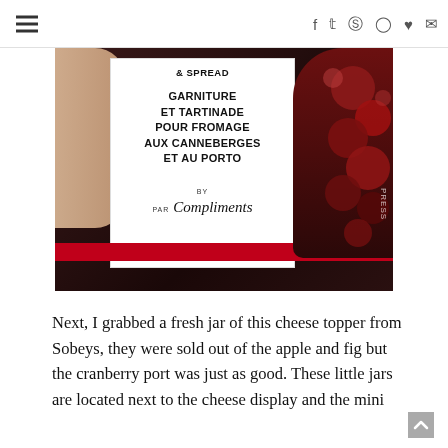Navigation header with hamburger menu and social icons: f (Facebook), Twitter, Pinterest, Instagram, heart, email
[Figure (photo): Close-up photo of a hand holding a jar of cranberry port cheese topper spread. The jar label reads: '& SPREAD / GARNITURE ET TARTINADE POUR FROMAGE AUX CANNEBERGES ET AU PORTO / BY PAR Compliments'. Dark red background with cranberries visible on the right side.]
Next, I grabbed a fresh jar of this cheese topper from Sobeys, they were sold out of the apple and fig but the cranberry port was just as good. These little jars are located next to the cheese display and the mini